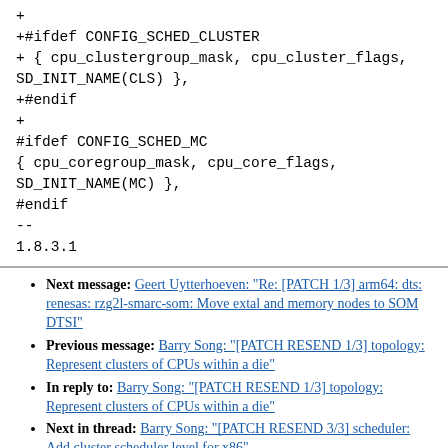+
+#ifdef CONFIG_SCHED_CLUSTER
+ { cpu_clustergroup_mask, cpu_cluster_flags, SD_INIT_NAME(CLS) },
+#endif
+
#ifdef CONFIG_SCHED_MC
{ cpu_coregroup_mask, cpu_core_flags, SD_INIT_NAME(MC) },
#endif
--
1.8.3.1
Next message: Geert Uytterhoeven: "Re: [PATCH 1/3] arm64: dts: renesas: rzg2l-smarc-som: Move extal and memory nodes to SOM DTSI"
Previous message: Barry Song: "[PATCH RESEND 1/3] topology: Represent clusters of CPUs within a die"
In reply to: Barry Song: "[PATCH RESEND 1/3] topology: Represent clusters of CPUs within a die"
Next in thread: Barry Song: "[PATCH RESEND 3/3] scheduler: Add cluster scheduler level for x86"
Messages sorted by: [ date ] [ thread ] [ subject ] [ author ]